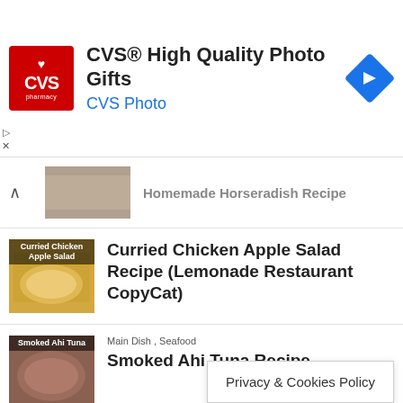[Figure (screenshot): CVS Pharmacy advertisement banner with red CVS logo, text 'CVS® High Quality Photo Gifts', 'CVS Photo' in blue, and a blue diamond-shaped arrow icon]
Homemade Horseradish Recipe (partially visible, truncated)
Curried Chicken Apple Salad Recipe (Lemonade Restaurant CopyCat)
Main Dish , Seafood
Smoked Ahi Tuna Recipe
Breads , Breakfast , Dessert
Grandma's Polish Nut Roll Recipe (Easter Nut Roll)
Privacy & Cookies Policy